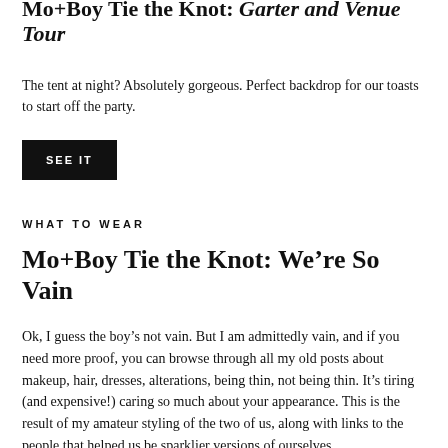Mo+Boy Tie the Knot: (partial, clipped at top)
The tent at night? Absolutely gorgeous. Perfect backdrop for our toasts to start off the party.
SEE IT
WHAT TO WEAR
Mo+Boy Tie the Knot: We're So Vain
Ok, I guess the boy's not vain. But I am admittedly vain, and if you need more proof, you can browse through all my old posts about makeup, hair, dresses, alterations, being thin, not being thin. It's tiring (and expensive!) caring so much about your appearance. This is the result of my amateur styling of the two of us, along with links to the people that helped us be sparklier versions of ourselves.
SEE IT